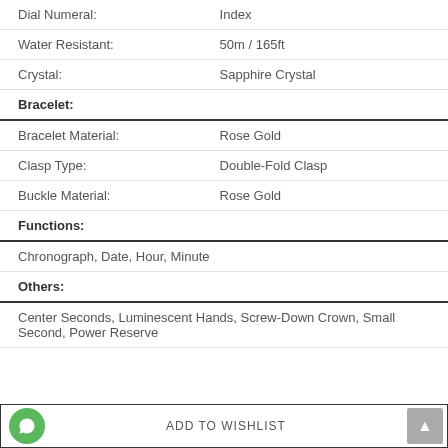| Dial Numeral: | Index |
| Water Resistant: | 50m / 165ft |
| Crystal: | Sapphire Crystal |
| Bracelet: |  |
| Bracelet Material: | Rose Gold |
| Clasp Type: | Double-Fold Clasp |
| Buckle Material: | Rose Gold |
| Functions: |  |
Chronograph, Date, Hour, Minute
Others:
Center Seconds, Luminescent Hands, Screw-Down Crown, Small Second, Power Reserve
ADD TO WISHLIST